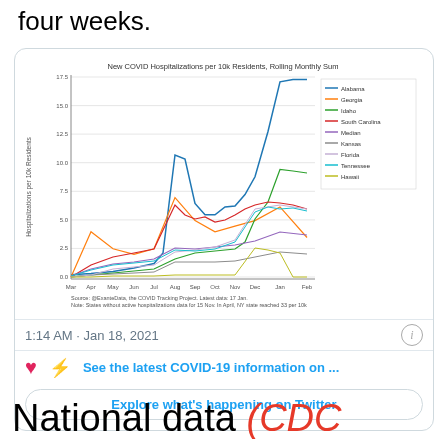four weeks.
[Figure (line-chart): Multi-line chart showing New COVID Hospitalizations per 10k Residents Rolling Monthly Sum for states Alabama (blue, highest ~17.5-18), Georgia (orange), Idaho (dark green), South Carolina (red), Median (purple), Kansas (gray), Florida (light purple), Tennessee (dark blue/navy), Hawaii (yellow-green). X-axis: Mar, Apr, May, Jun, Jul, Aug, Sep, Oct, Nov, Dec, Jan, Feb. Y-axis: 0.0 to 17.5+.]
1:14 AM · Jan 18, 2021
See the latest COVID-19 information on ...
Explore what's happening on Twitter
National data (CDC